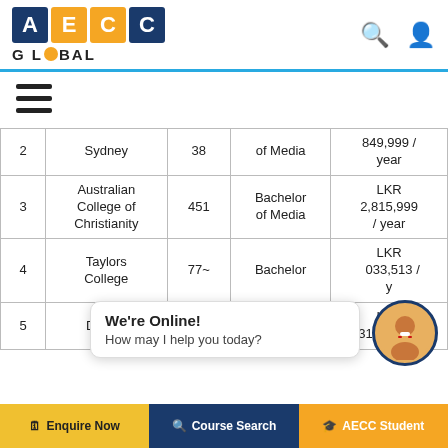[Figure (logo): AECC Global logo with colored letter boxes and globe icon]
| # | College | Rank | Degree | Fee |
| --- | --- | --- | --- | --- |
| 2 | Sydney | 38 | of Media | 849,999 / year |
| 3 | Australian College of Christianity | 451 | Bachelor of Media | LKR 2,815,999 / year |
| 4 | Taylors College | 77~ | Bachelor | LKR 1,033,513 / year (partial) |
| 5 | Deakin | =223 | Bachelor | LKR 3177,560 / |
We're Online! How may I help you today?
Enquire Now | Course Search | AECC Student